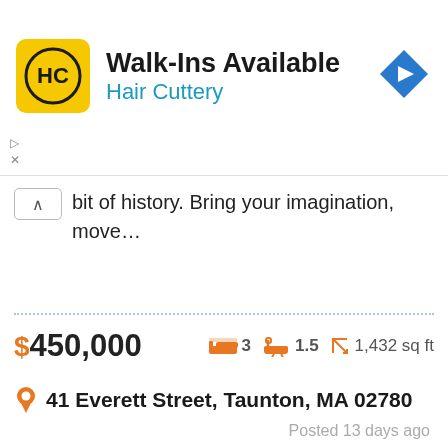[Figure (screenshot): Hair Cuttery advertisement banner with yellow square logo showing 'HC' initials, text 'Walk-Ins Available' in bold black and 'Hair Cuttery' in blue, with a blue diamond navigation arrow icon on the right]
bit of history. Bring your imagination, move...
$450,000   🛏 3   🛁 1.5   ↕ 1,432 sq ft
📍 41 Everett Street, Taunton, MA 02780
Posted 13 days ago
[Figure (photo): Exterior photo of a two-story colonial/cape cod style house with dormers, trees with fall foliage in background, gray sky. A star/favorite icon with a plus symbol overlays the top-left corner.]